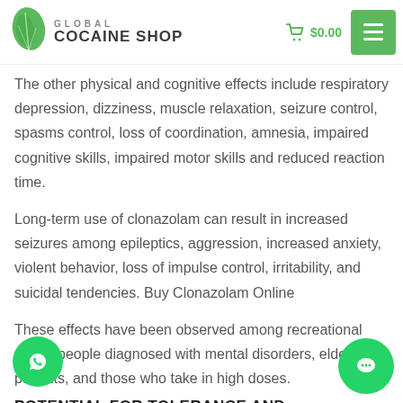GLOBAL COCAINE SHOP $0.00
The other physical and cognitive effects include respiratory depression, dizziness, muscle relaxation, seizure control, spasms control, loss of coordination, amnesia, impaired cognitive skills, impaired motor skills and reduced reaction time.
Long-term use of clonazolam can result in increased seizures among epileptics, aggression, increased anxiety, violent behavior, loss of impulse control, irritability, and suicidal tendencies. Buy Clonazolam Online
These effects have been observed among recreational users, people diagnosed with mental disorders, elderly patients, and those who take in high doses.
POTENTIAL FOR TOLERANCE AND